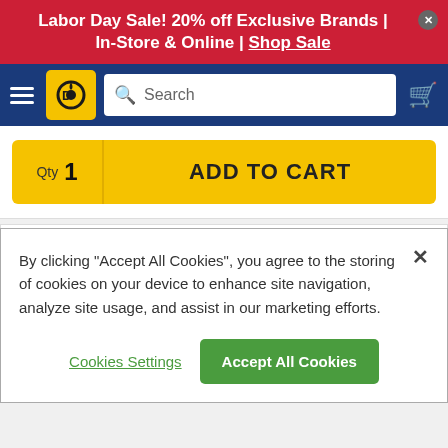Labor Day Sale! 20% off Exclusive Brands | In-Store & Online | Shop Sale
[Figure (screenshot): Navigation bar with hamburger menu, Cycle Gear logo, search bar, and cart icon on dark blue background]
Qty 1
ADD TO CART
Pick-up in Store:
Cycle Gear Pacheco Check Nearby Stores
By clicking "Accept All Cookies", you agree to the storing of cookies on your device to enhance site navigation, analyze site usage, and assist in our marketing efforts.
Cookies Settings
Accept All Cookies